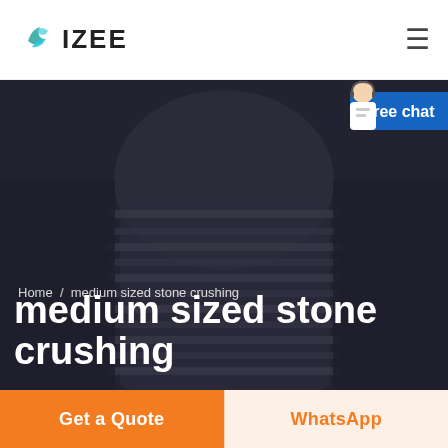IZEE
[Figure (screenshot): Hero banner with dark striped background showing a person in a striped shirt, with breadcrumb navigation 'Home / medium sized stone crushing' and large white bold title 'medium sized stone crushing'. A blue 'Free chat' widget appears in the top-right corner.]
Home / medium sized stone crushing
medium sized stone crushing
Get a Quote
WhatsApp